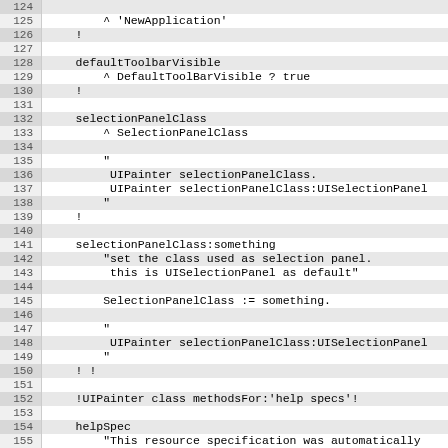Source code listing lines 124-155 showing Smalltalk-style code for UIPainter application methods including defaultToolbarVisible, selectionPanelClass, selectionPanelClass:something, and helpSpec methods